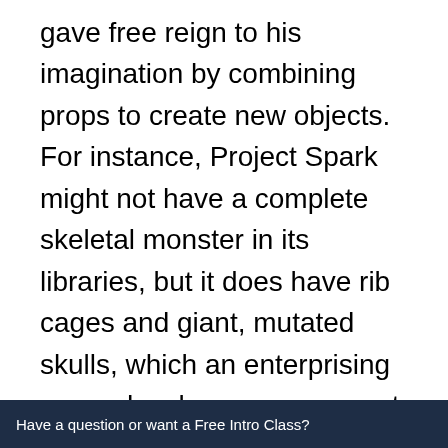gave free reign to his imagination by combining props to create new objects. For instance, Project Spark might not have a complete skeletal monster in its libraries, but it does have rib cages and giant, mutated skulls, which an enterprising game developer can connect and electronically glue into a monster fit for a nightmare. Nicholas, with his eye for detailed world design, manually selected, placed, and rotated different props to create the custom scenery he envisioned. Pillars support his layered biomes and his player can jump from world to world. (Nicholas seems to like
Have a question or want a Free Intro Class?